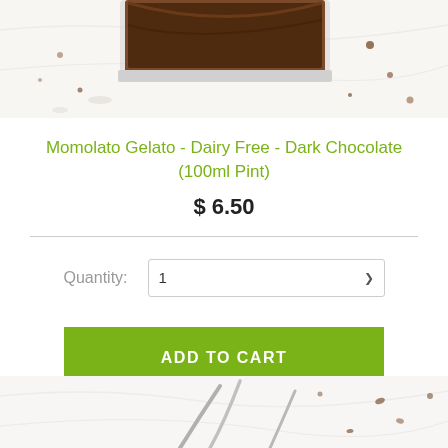[Figure (photo): Top portion of a product photo showing a chocolate gelato container with dark chocolate spread on top, placed on a white marble surface with chocolate crumbs scattered around.]
Momolato Gelato - Dairy Free - Dark Chocolate (100ml Pint)
$ 6.50
Quantity: 1
ADD TO CART
[Figure (photo): Bottom portion of a product photo showing a white marble surface with gelato scooping utensils and scattered chocolate pieces.]